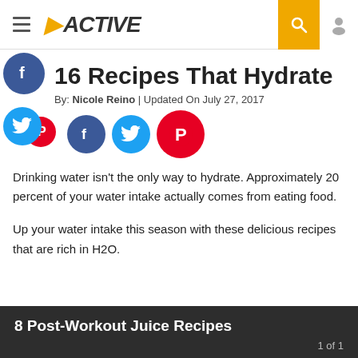ACTIVE
16 Recipes That Hydrate
By: Nicole Reino | Updated On July 27, 2017
[Figure (illustration): Social sharing icons: Facebook, Twitter, Pinterest in circular buttons]
Drinking water isn't the only way to hydrate. Approximately 20 percent of your water intake actually comes from eating food.
Up your water intake this season with these delicious recipes that are rich in H2O.
8 Post-Workout Juice Recipes
1 of 1